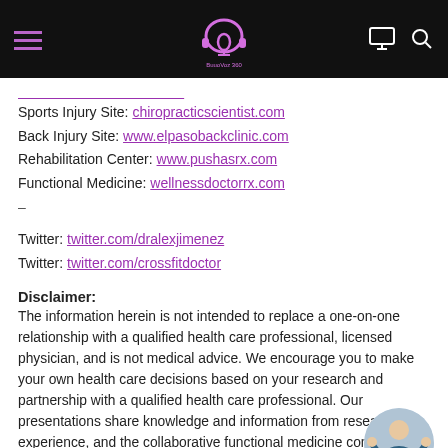BuuoVoz 360 — navigation header with logo, hamburger menu, monitor icon, search icon
Sports Injury Site: chiropracticscientist.com
Back Injury Site: www.elpasobackclinic.com
Rehabilitation Center: www.pushasrx.com
Functional Medicine: wellnessdoctorrx.com
–
Twitter: twitter.com/dralexjimenez
Twitter: twitter.com/crossfitdoctor
Disclaimer:
The information herein is not intended to replace a one-on-one relationship with a qualified health care professional, licensed physician, and is not medical advice. We encourage you to make your own health care decisions based on your research and partnership with a qualified health care professional. Our presentations share knowledge and information from resea experience, and the collaborative functional medicine comi The information and scope are limited to chiropractic,